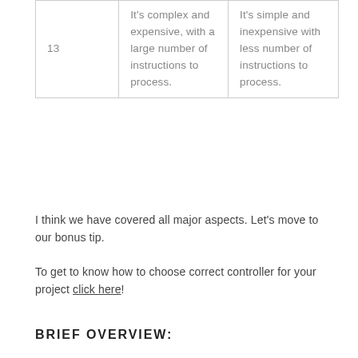| 13 | It's complex and expensive, with a large number of instructions to process. | It's simple and inexpensive with less number of instructions to process. |
I think we have covered all major aspects. Let's move to our bonus tip.
To get to know how to choose correct controller for your project click here!
BRIEF OVERVIEW: